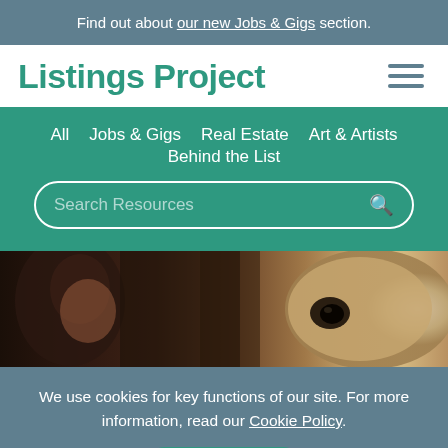Find out about our new Jobs & Gigs section.
Listings Project
All  Jobs & Gigs  Real Estate  Art & Artists  Behind the List
[Figure (screenshot): Search box with placeholder text 'Search Resources' and a search icon]
[Figure (photo): Dark photo showing a person and a horse in close proximity]
We use cookies for key functions of our site. For more information, read our Cookie Policy.
Ok, got it